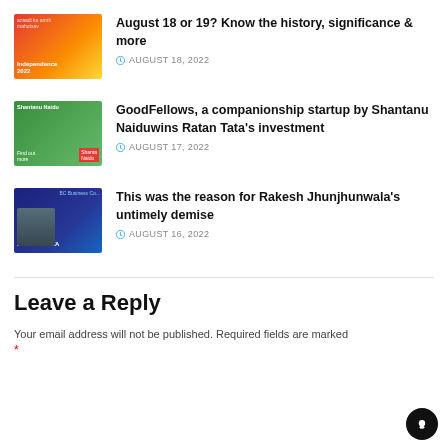[Figure (photo): Thumbnail image for first article, colorful festive themed]
August 18 or 19? Know the history, significance & more
AUGUST 18, 2022
[Figure (photo): Thumbnail image for GoodFellows article, green background with people]
GoodFellows, a companionship startup by Shantanu Naiduwins Ratan Tata's investment
AUGUST 17, 2022
[Figure (photo): Thumbnail image for Rakesh Jhunjhunwala article, dark background with portrait]
This was the reason for Rakesh Jhunjhunwala's untimely demise
AUGUST 16, 2022
Leave a Reply
Your email address will not be published. Required fields are marked *